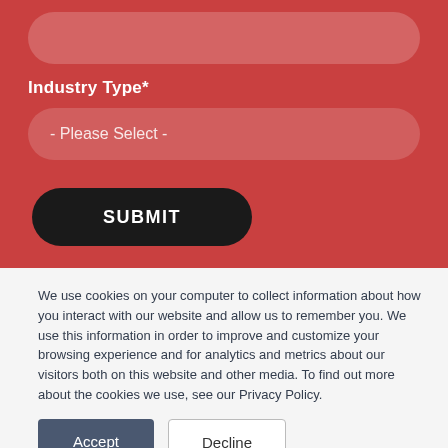Industry Type*
- Please Select -
SUBMIT
We use cookies on your computer to collect information about how you interact with our website and allow us to remember you. We use this information in order to improve and customize your browsing experience and for analytics and metrics about our visitors both on this website and other media. To find out more about the cookies we use, see our Privacy Policy.
Accept
Decline